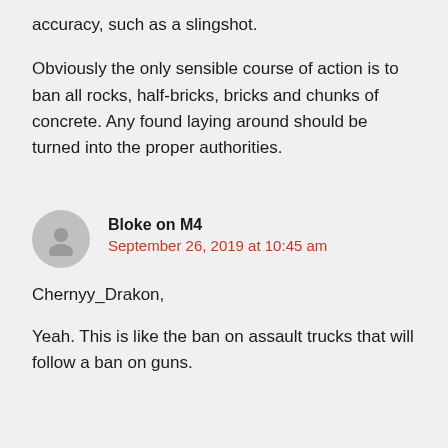accuracy, such as a slingshot.
Obviously the only sensible course of action is to ban all rocks, half-bricks, bricks and chunks of concrete. Any found laying around should be turned into the proper authorities.
Bloke on M4
September 26, 2019 at 10:45 am
Chernyy_Drakon,
Yeah. This is like the ban on assault trucks that will follow a ban on guns.